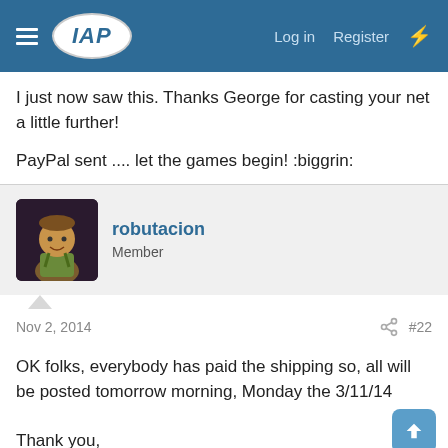IAP — Log in  Register
I just now saw this. Thanks George for casting your net a little further!
PayPal sent .... let the games begin! :biggrin:
robutacion
Member
Nov 2, 2014  #22
OK folks, everybody has paid the shipping so, all will be posted tomorrow morning, Monday the 3/11/14

Thank you,
Cheers
George
stonepecker